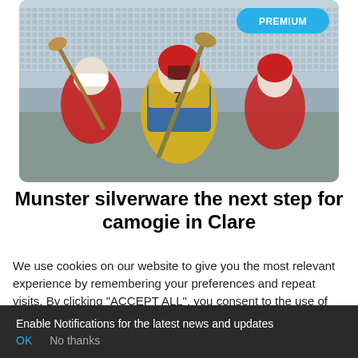[Figure (photo): Camogie players in action — a player in yellow and blue jersey with red helmet holds a hurley, flanked by players in red jerseys, with stadium seating in background]
Munster silverware the next step for camogie in Clare
We use cookies on our website to give you the most relevant experience by remembering your preferences and repeat visits. By clicking "ACCEPT ALL", you consent to the use of ALL the cookies. However, you may visit "Cookie Settings" to provide a controlled consent.
Enable Notifications for the latest news and updates
OK   No thanks